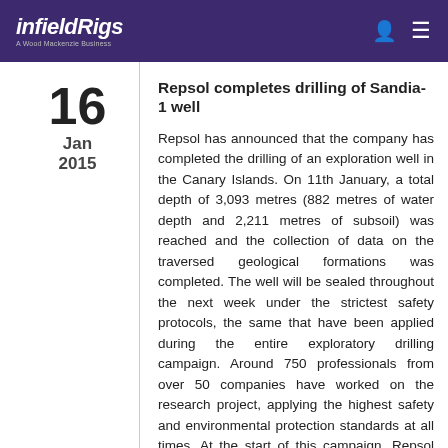infieldRigs — A Wood Mackenzie Business
Repsol completes drilling of Sandia-1 well
16 Jan 2015
Repsol has announced that the company has completed the drilling of an exploration well in the Canary Islands. On 11th January, a total depth of 3,093 metres (882 metres of water depth and 2,211 metres of subsoil) was reached and the collection of data on the traversed geological formations was completed. The well will be sealed throughout the next week under the strictest safety protocols, the same that have been applied during the entire exploratory drilling campaign. Around 750 professionals from over 50 companies have worked on the research project, applying the highest safety and environmental protection standards at all times. At the start of this campaign, Repsol estimated the possibility of finding hydrocarbons at between 15% and 20%. The company carried out the campaign in the belief that a discovery of hydrocarbons would be beneficial for the Spanish economy. The